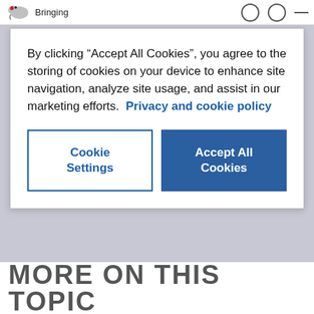Bringing
By clicking “Accept All Cookies”, you agree to the storing of cookies on your device to enhance site navigation, analyze site usage, and assist in our marketing efforts. Privacy and cookie policy
Cookie Settings
Accept All Cookies
MORE ON THIS TOPIC